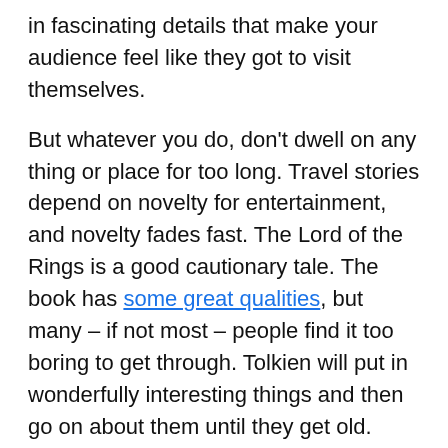in fascinating details that make your audience feel like they got to visit themselves.
But whatever you do, don't dwell on any thing or place for too long. Travel stories depend on novelty for entertainment, and novelty fades fast. The Lord of the Rings is a good cautionary tale. The book has some great qualities, but many – if not most – people find it too boring to get through. Tolkien will put in wonderfully interesting things and then go on about them until they get old. Avoid this by keeping your story tight.
5. Bring the Quest to a Head